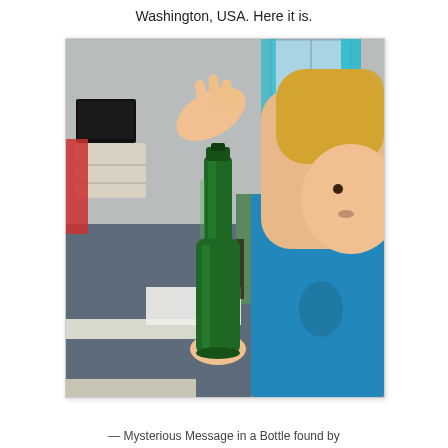Washington, USA. Here it is.
[Figure (photo): A young blonde child holding up a green glass bottle in both hands, examining it. The child wears a teal/blue shirt. The indoor setting shows a room with carpet, a TV on a white stand, a green table, and blue curtains visible in the background window.]
— Mysterious Message in a Bottle found by